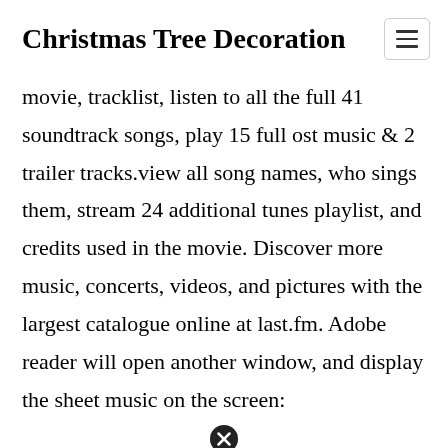Christmas Tree Decoration
movie, tracklist, listen to all the full 41 soundtrack songs, play 15 full ost music & 2 trailer tracks.view all song names, who sings them, stream 24 additional tunes playlist, and credits used in the movie. Discover more music, concerts, videos, and pictures with the largest catalogue online at last.fm. Adobe reader will open another window, and display the sheet music on the screen:
[Figure (other): Close/cancel button icon (circled X) at bottom center of page]